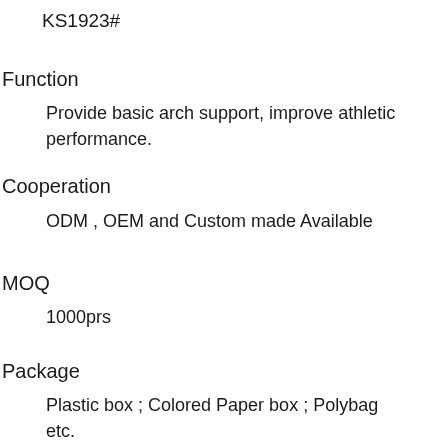KS1923#
Function
Provide basic arch support, improve athletic performance.
Cooperation
ODM , OEM and Custom made Available
MOQ
1000prs
Package
Plastic box ; Colored Paper box ; Polybag etc.